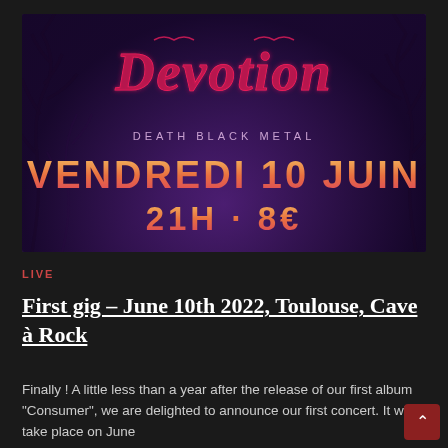[Figure (illustration): Concert poster for Devotion (Death Black Metal) showing dark purple fantasy background with twisted trees and branches. Large stylized band name 'Devotion' in gothic metal font at top. Text reads 'DEATH BLACK METAL', 'VENDREDI 10 JUIN', '21H - 8€' in orange/pink gradient metallic lettering.]
LIVE
First gig – June 10th 2022, Toulouse, Cave à Rock
Finally ! A little less than a year after the release of our first album "Consumer", we are delighted to announce our first concert. It will take place on June...